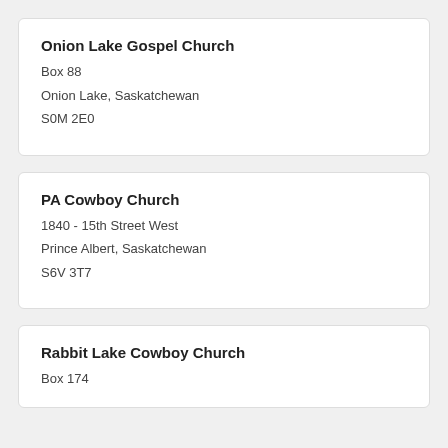Onion Lake Gospel Church
Box 88
Onion Lake, Saskatchewan
S0M 2E0
PA Cowboy Church
1840 - 15th Street West
Prince Albert, Saskatchewan
S6V 3T7
Rabbit Lake Cowboy Church
Box 174